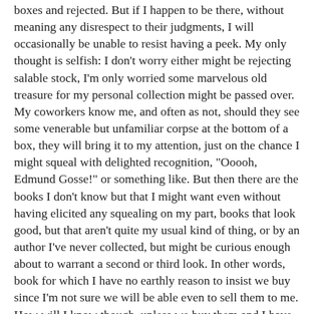boxes and rejected. But if I happen to be there, without meaning any disrespect to their judgments, I will occasionally be unable to resist having a peek. My only thought is selfish: I don't worry either might be rejecting salable stock, I'm only worried some marvelous old treasure for my personal collection might be passed over. My coworkers know me, and often as not, should they see some venerable but unfamiliar corpse at the bottom of a box, they will bring it to my attention, just on the chance I might squeal with delighted recognition, "Ooooh, Edmund Gosse!" or something like. But then there are the books I don't know but that I might want even without having elicited any squealing on my part, books that look good, but that aren't quite my usual kind of thing, or by an author I've never collected, but might be curious enough about to warrant a second or third look. In other words, book for which I have no earthly reason to insist we buy since I'm not sure we will be able even to sell them to me. How will I know though, unless we buy them and I have a few days to paw and peruse them?
Bret Harte is not the sort of American author for whom I've ever had much use. I remember him only from the one story from when I was little, when we were young. The kind of